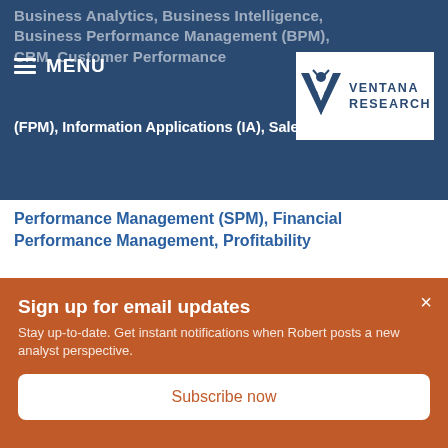Business Analytics, Business Intelligence, Business Performance Management (BPM), CRM, Customer Performance (CPM), Financial Performance (FPM), Information Applications (IA), Sales Performance Management (SPM), Financial Performance Management, Profitability
[Figure (logo): Ventana Research logo — white V-shaped bird icon with text VENTANA RESEARCH on blue background]
Patent Documents Useful
Sign up for email updates
Stay up-to-date. Get instant notifications when Robert posts a new analyst perspective.
Subscribe now